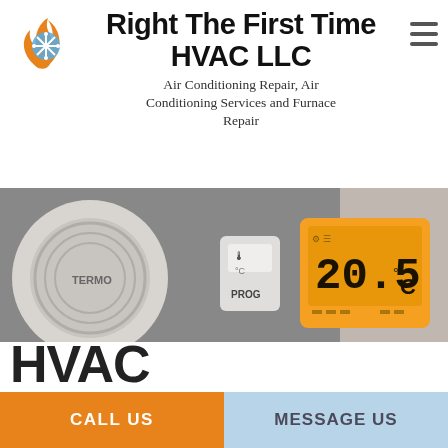[Figure (logo): Flame and snowflake logo icon — orange flame merging with blue snowflake]
Right The First Time HVAC LLC
Air Conditioning Repair, Air Conditioning Services and Furnace Repair
[Figure (photo): Black and white photo of HVAC thermostat and equipment showing 20.5°C on digital display, with thermostatic valve and ductwork]
HVAC
CALL US
MESSAGE US